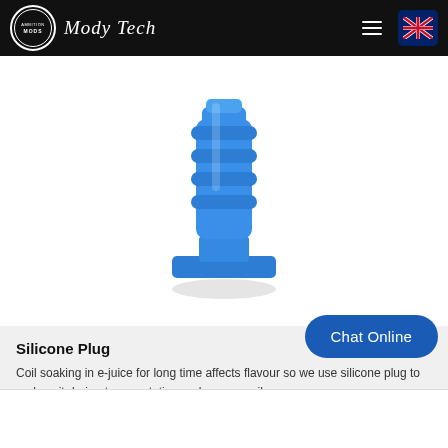Mody Tech
[Figure (photo): Blue silicone plug product photo — cylindrical ridged silicone component with a wide flat base, blue color, shown on white background]
Silicone Plug
Coil soaking in e-juice for long time affects flavour so we use silicone plug to replace it during transportation and ensure coil wor...
Chat Online